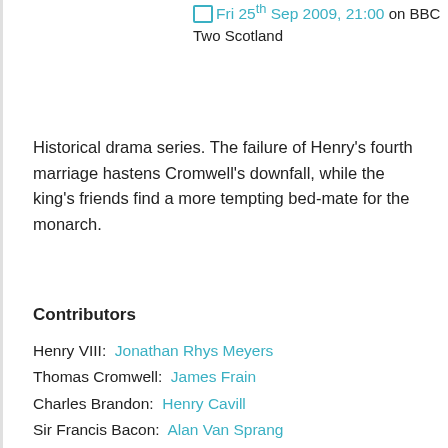Fri 25th Sep 2009, 21:00 on BBC Two Scotland
Historical drama series. The failure of Henry's fourth marriage hastens Cromwell's downfall, while the king's friends find a more tempting bed-mate for the monarch.
Contributors
Henry VIII:  Jonathan Rhys Meyers
Thomas Cromwell:  James Frain
Charles Brandon:  Henry Cavill
Sir Francis Bacon:  Alan Van Sprang
Bishop Gardiner:  Simon Ward
Catherine Howard:  Tamzin Merchant
Edward Seymour:  Max Brown
Lady Mary Tudor:  Sarah Bolger
Director:  Jeremy Podeswa
Writer:  Michael Hirst